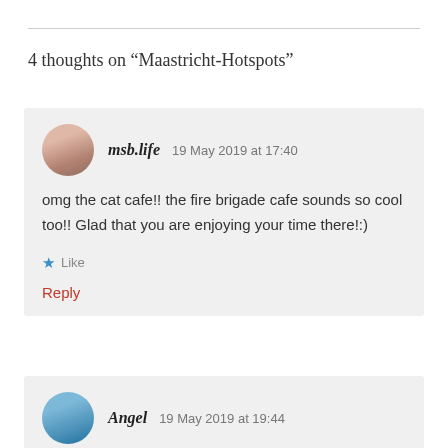4 thoughts on “Maastricht-Hotspots”
msb.life   19 May 2019 at 17:40
omg the cat cafe!! the fire brigade cafe sounds so cool too!! Glad that you are enjoying your time there!:)
★ Like
Reply
Angel   19 May 2019 at 19:44